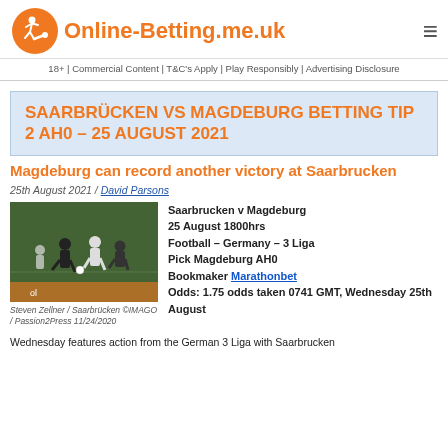Online-Betting.me.uk
18+ | Commercial Content | T&C's Apply | Play Responsibly | Advertising Disclosure
SAARBRÜCKEN VS MAGDEBURG BETTING TIP 2 AH0 – 25 AUGUST 2021
Magdeburg can record another victory at Saarbrucken
25th August 2021 / David Parsons
[Figure (photo): Football match action photo, Steven Zellner / Saarbrücken ©IMAGO / Passion2Press 11/24/2020]
Steven Zellner / Saarbrücken ©IMAGO / Passion2Press 11/24/2020
Saarbrucken v Magdeburg
25 August 1800hrs
Football – Germany – 3 Liga
Pick Magdeburg AH0
Bookmaker Marathonbet
Odds: 1.75 odds taken 0741 GMT, Wednesday 25th August
Wednesday features action from the German 3 Liga with Saarbrucken